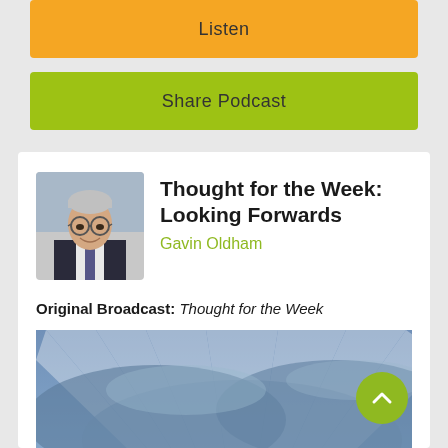Listen
Share Podcast
Thought for the Week: Looking Forwards
Gavin Oldham
Original Broadcast: Thought for the Week
[Figure (photo): Head and shoulders photo of an elderly smiling man wearing glasses and a dark suit with tie]
[Figure (photo): Sky photograph showing dramatic light rays breaking through clouds]